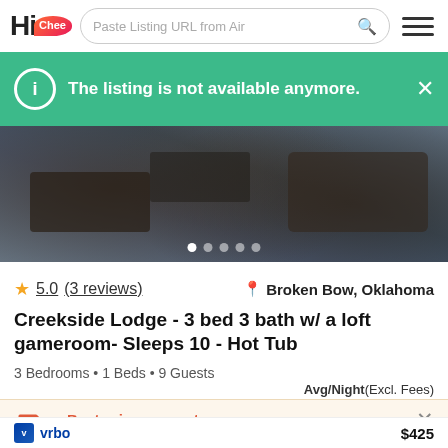Hi Chee — Paste Listing URL from Airbnb search bar
The listing is not available anymore.
[Figure (photo): Interior photo of a vacation rental living room with dark leather furniture and a patterned rug, with carousel navigation dots]
⭐ 5.0 (3 reviews)   📍 Broken Bow, Oklahoma
Creekside Lodge - 3 bed 3 bath w/ a loft gameroom- Sleeps 10 - Hot Tub
3 Bedrooms • 1 Beds • 9 Guests
Avg/Night(Excl. Fees)
Best price guarantee
We compare prices for each vacation rental on different sites to guarantee you the best price.
vrbo   $425